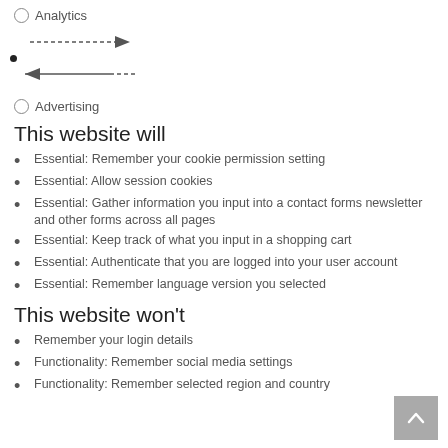○ Analytics
[Figure (illustration): Two horizontal arrows: one pointing right with dotted tail, one pointing left with dotted tail. A small bullet dot on the left side.]
○ Advertising
This website will
Essential: Remember your cookie permission setting
Essential: Allow session cookies
Essential: Gather information you input into a contact forms newsletter and other forms across all pages
Essential: Keep track of what you input in a shopping cart
Essential: Authenticate that you are logged into your user account
Essential: Remember language version you selected
This website won't
Remember your login details
Functionality: Remember social media settings
Functionality: Remember selected region and country